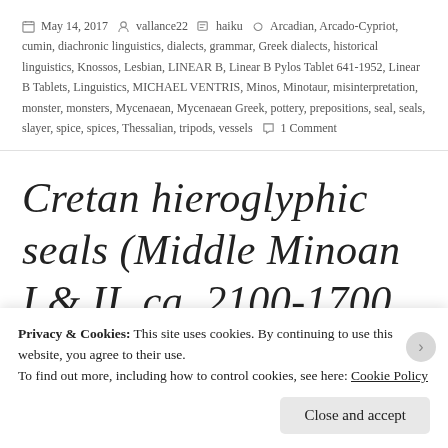May 14, 2017  vallance22  haiku  Arcadian, Arcado-Cypriot, cumin, diachronic linguistics, dialects, grammar, Greek dialects, historical linguistics, Knossos, Lesbian, LINEAR B, Linear B Pylos Tablet 641-1952, Linear B Tablets, Linguistics, MICHAEL VENTRIS, Minos, Minotaur, misinterpretation, monster, monsters, Mycenaean, Mycenaean Greek, pottery, prepositions, seal, seals, slayer, spice, spices, Thessalian, tripods, vessels  1 Comment
Cretan hieroglyphic seals (Middle Minoan I & II, ca. 2100-1700 BCE)
2 Votes
Privacy & Cookies: This site uses cookies. By continuing to use this website, you agree to their use. To find out more, including how to control cookies, see here: Cookie Policy